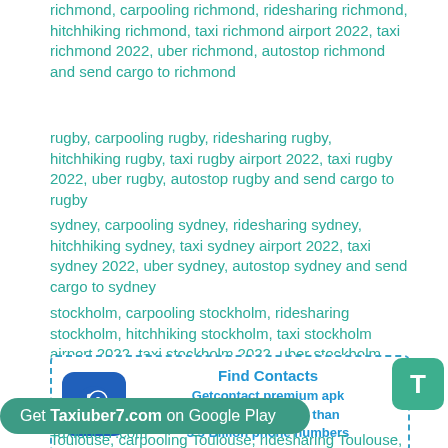richmond, carpooling richmond, ridesharing richmond, hitchhiking richmond, taxi richmond airport 2022, taxi richmond 2022, uber richmond, autostop richmond and send cargo to richmond
rugby, carpooling rugby, ridesharing rugby, hitchhiking rugby, taxi rugby airport 2022, taxi rugby 2022, uber rugby, autostop rugby and send cargo to rugby
sydney, carpooling sydney, ridesharing sydney, hitchhiking sydney, taxi sydney airport 2022, taxi sydney 2022, uber sydney, autostop sydney and send cargo to sydney
stockholm, carpooling stockholm, ridesharing stockholm, hitchhiking stockholm, taxi stockholm airport 2022, taxi stockholm 2022, uber stockholm, autostop stockholm and send cargo to stockholm
[Figure (infographic): Find Contacts ad box with Getcontact premium apk logo, dashed blue border, text: Find Contacts, Getcontact premium apk, You can find more than 3.5 Billion phone numbers]
Taxiuber7.com
Get Taxiuber7.com on Google Play
Toulouse, carpooling Toulouse, ridesharing Toulouse,